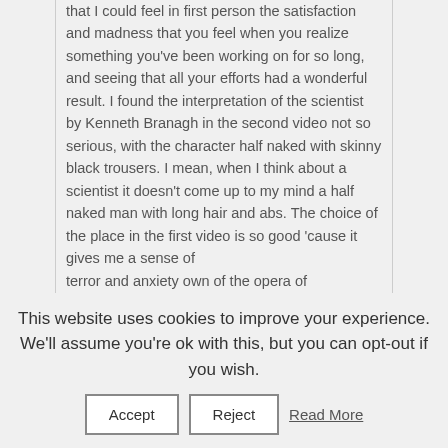that I could feel in first person the satisfaction and madness that you feel when you realize something you've been working on for so long, and seeing that all your efforts had a wonderful result. I found the interpretation of the scientist by Kenneth Branagh in the second video not so serious, with the character half naked with skinny black trousers. I mean, when I think about a scientist it doesn't come up to my mind a half naked man with long hair and abs. The choice of the place in the first video is so good 'cause it gives me a sense of terror and anxiety own of the opera of Frankenstein. The place looks cold and scary and this helps giving an idea of terror for the moment when the horrible creature will come alive .
This website uses cookies to improve your experience. We'll assume you're ok with this, but you can opt-out if you wish.